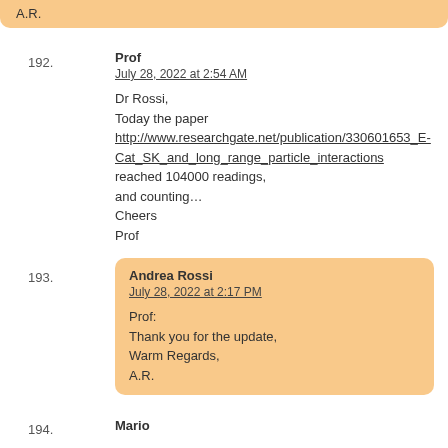A.R.
192. Prof
July 28, 2022 at 2:54 AM

Dr Rossi,
Today the paper
http://www.researchgate.net/publication/330601653_E-Cat_SK_and_long_range_particle_interactions
reached 104000 readings,
and counting...
Cheers
Prof
193. Andrea Rossi
July 28, 2022 at 2:17 PM

Prof:
Thank you for the update,
Warm Regards,
A.R.
194. Mario